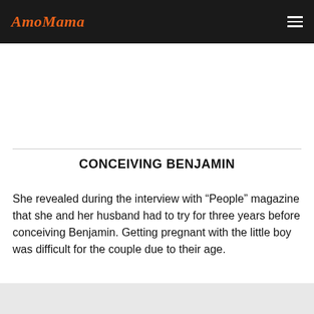AmoMama
CONCEIVING BENJAMIN
She revealed during the interview with “People” magazine that she and her husband had to try for three years before conceiving Benjamin. Getting pregnant with the little boy was difficult for the couple due to their age.